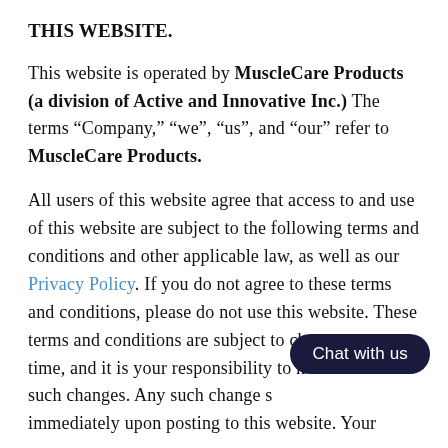THIS WEBSITE.
This website is operated by MuscleCare Products (a division of Active and Innovative Inc.) The terms “Company,” “we”, “us”, and “our” refer to MuscleCare Products.
All users of this website agree that access to and use of this website are subject to the following terms and conditions and other applicable law, as well as our Privacy Policy. If you do not agree to these terms and conditions, please do not use this website. These terms and conditions are subject to change at any time, and it is your responsibility to keep abreast of such changes. Any such change shall be effective immediately upon posting to this website. Your continued use or access of this website...